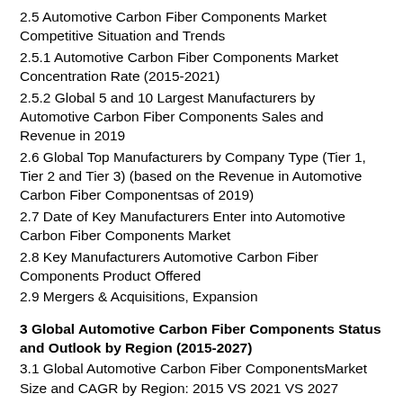2.5 Automotive Carbon Fiber Components Market Competitive Situation and Trends
2.5.1 Automotive Carbon Fiber Components Market Concentration Rate (2015-2021)
2.5.2 Global 5 and 10 Largest Manufacturers by Automotive Carbon Fiber Components Sales and Revenue in 2019
2.6 Global Top Manufacturers by Company Type (Tier 1, Tier 2 and Tier 3) (based on the Revenue in Automotive Carbon Fiber Componentsas of 2019)
2.7 Date of Key Manufacturers Enter into Automotive Carbon Fiber Components Market
2.8 Key Manufacturers Automotive Carbon Fiber Components Product Offered
2.9 Mergers & Acquisitions, Expansion
3 Global Automotive Carbon Fiber Components Status and Outlook by Region (2015-2027)
3.1 Global Automotive Carbon Fiber ComponentsMarket Size and CAGR by Region: 2015 VS 2021 VS 2027
3.2 Global Automotive Carbon Fiber Components Market